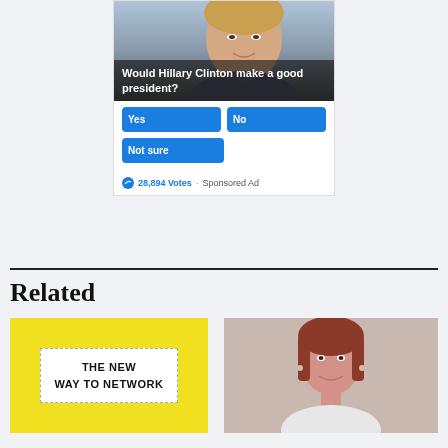[Figure (photo): Photo of Hillary Clinton smiling with text overlay 'Would Hillary Clinton make a good president?']
Yes
No
Not sure
28,894 Votes • Sponsored Ad
Related
[Figure (photo): Yellow background image with white box saying THE NEW WAY TO NETWORK]
[Figure (photo): Photo of a woman with brown hair smiling against grey background]